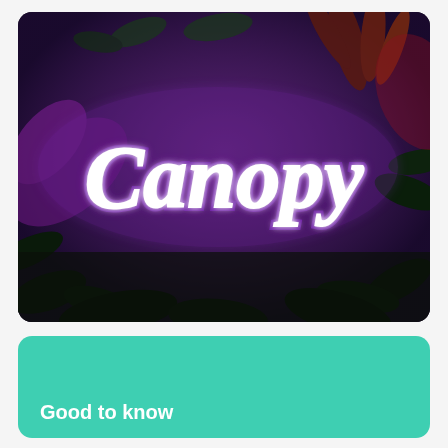[Figure (photo): A neon sign reading 'Canopy' in cursive script with purple/violet glow, set against a dark background of tropical foliage including ferns and leaves. The neon lettering is white with purple accent shadows.]
Good to know